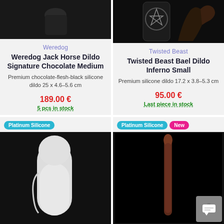[Figure (photo): Product photo - dark background, hand holding object (top cropped)]
Weredog
Weredog Jack Horse Dildo Signature Chocolate Medium
Premium chocolate-flesh-black silicone dildo 25 x 4.6–5.6 cm
189.00 €
5 pcs in stock
[Figure (photo): Twisted Beast product photo - dark background with occult imagery]
Twisted Beast
Twisted Beast Bael Dildo Inferno Small
Premium silicone dildo 17.2 x 3.8–5.3 cm
95.00 €
Last piece in stock
Platinum Silicone
[Figure (photo): Product photo bottom left - dark background, white silicone product]
Platinum Silicone
New
[Figure (photo): Product photo bottom right - black background, thin elongated product]